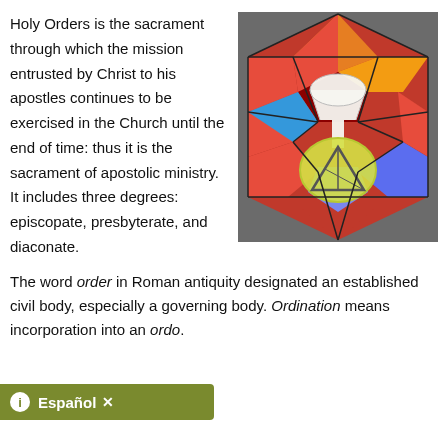Holy Orders is the sacrament through which the mission entrusted by Christ to his apostles continues to be exercised in the Church until the end of time: thus it is the sacrament of apostolic ministry. It includes three degrees: episcopate, presbyterate, and diaconate.
[Figure (photo): Stained glass window depicting a chalice and host on a background of red, orange, blue and yellow geometric glass panels.]
The word order in Roman antiquity designated an established civil body, especially a governing body. Ordination means incorporation into an ordo.